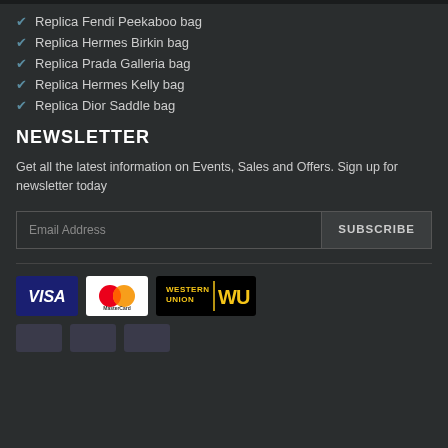Replica Fendi Peekaboo bag
Replica Hermes Birkin bag
Replica Prada Galleria bag
Replica Hermes Kelly bag
Replica Dior Saddle bag
NEWSLETTER
Get all the latest information on Events, Sales and Offers. Sign up for newsletter today
[Figure (other): Email address input field with SUBSCRIBE button]
[Figure (other): Payment method logos: VISA, MasterCard, Western Union]